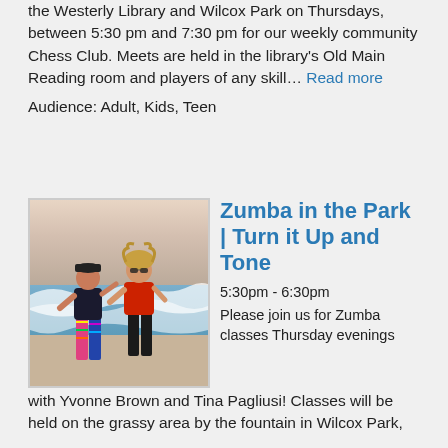the Westerly Library and Wilcox Park on Thursdays, between 5:30 pm and 7:30 pm for our weekly community Chess Club. Meets are held in the library's Old Main Reading room and players of any skill… Read more
Audience: Adult, Kids, Teen
[Figure (photo): Two women dancing on a beach near ocean waves, one wearing colorful patterned leggings and black top, the other in a red outfit.]
Zumba in the Park | Turn it Up and Tone
5:30pm - 6:30pm
Please join us for Zumba classes Thursday evenings with Yvonne Brown and Tina Pagliusi! Classes will be held on the grassy area by the fountain in Wilcox Park,